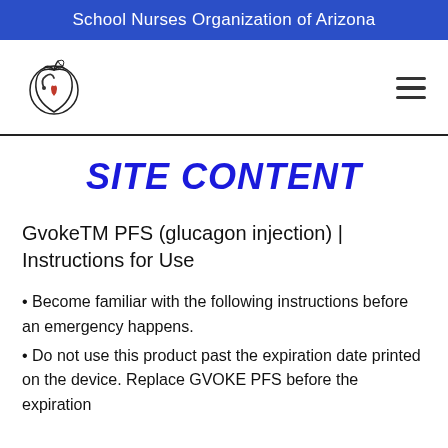School Nurses Organization of Arizona
[Figure (logo): School Nurses Organization of Arizona logo: apple with stethoscope and heart]
SITE CONTENT
GvokeTM PFS (glucagon injection) | Instructions for Use
Become familiar with the following instructions before an emergency happens.
Do not use this product past the expiration date printed on the device. Replace GVOKE PFS before the expiration